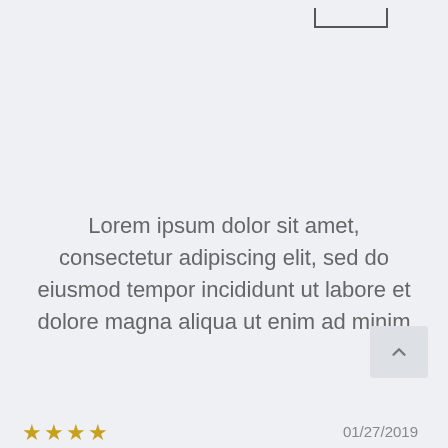[Figure (other): A partial UI element, bottom border of a rectangle/input box visible near top right]
Lorem ipsum dolor sit amet, consectetur adipiscing elit, sed do eiusmod tempor incididunt ut labore et dolore magna aliqua ut enim ad minim
[Figure (other): A scroll-to-top button with an upward chevron arrow, light grey rounded square button]
★★★★
01/27/2019